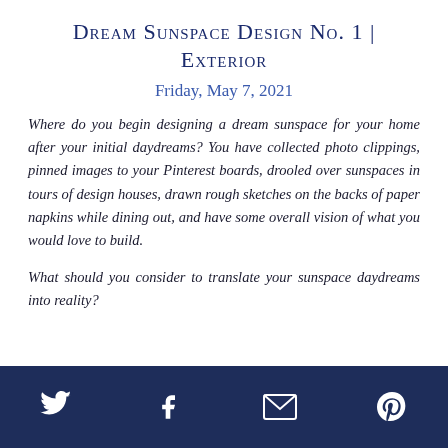Dream Sunspace Design No. 1 | Exterior
Friday, May 7, 2021
Where do you begin designing a dream sunspace for your home after your initial daydreams? You have collected photo clippings, pinned images to your Pinterest boards, drooled over sunspaces in tours of design houses, drawn rough sketches on the backs of paper napkins while dining out, and have some overall vision of what you would love to build.
What should you consider to translate your sunspace daydreams into reality?
Twitter | Facebook | Email | Pinterest social links